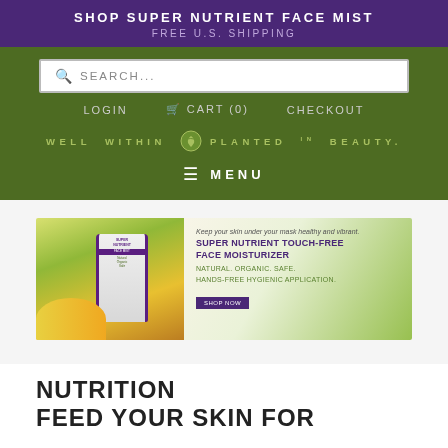SHOP SUPER NUTRIENT FACE MIST
FREE U.S. SHIPPING
[Figure (screenshot): Search bar with magnifying glass icon and 'SEARCH...' placeholder text on green background]
LOGIN   🛒 CART (0)   CHECKOUT
[Figure (logo): Well Within Planted in Beauty logo with green leaf/heart icon, text spread with letter-spacing]
≡ MENU
[Figure (photo): Product banner showing Super Nutrient Touch-Free Face Moisturizer bottle with floral background. Text: Keep your skin under your mask healthy and vibrant. SUPER NUTRIENT TOUCH-FREE FACE MOISTURIZER. NATURAL. ORGANIC. SAFE. HANDS-FREE HYGIENIC APPLICATION. SHOP NOW button.]
NUTRITION
FEED YOUR SKIN FOR